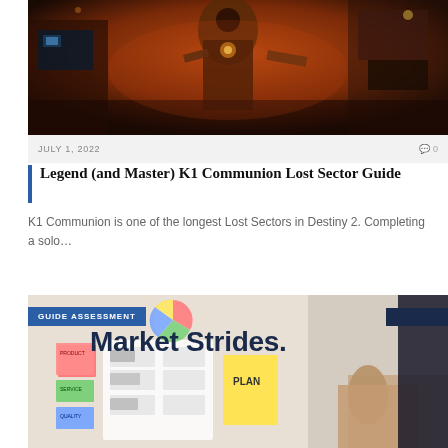[Figure (photo): Dark sci-fi game screenshot showing a robotic/armored figure in a red-lit industrial environment]
JULY 1, 2022  0
Legend (and Master) K1 Communion Lost Sector Guide
K1 Communion is one of the longest Lost Sectors in Destiny 2. Completing a solo…
[Figure (photo): Business planning photo with sticky notes, charts, and 'Market Strides.' text overlay with 'GUIDE ASSESSMENT' label]
GUIDE ASSESSMENT
Market Strides.